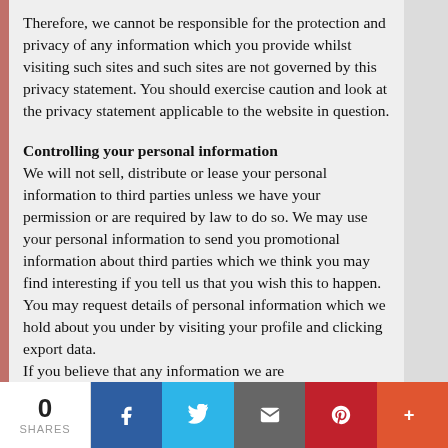Therefore, we cannot be responsible for the protection and privacy of any information which you provide whilst visiting such sites and such sites are not governed by this privacy statement. You should exercise caution and look at the privacy statement applicable to the website in question.
Controlling your personal information
We will not sell, distribute or lease your personal information to third parties unless we have your permission or are required by law to do so. We may use your personal information to send you promotional information about third parties which we think you may find interesting if you tell us that you wish this to happen.
You may request details of personal information which we hold about you under by visiting your profile and clicking export data.
If you believe that any information we are
[Figure (other): Social share bar at bottom: 0 SHARES, Facebook, Twitter, Email, Pinterest, More buttons]